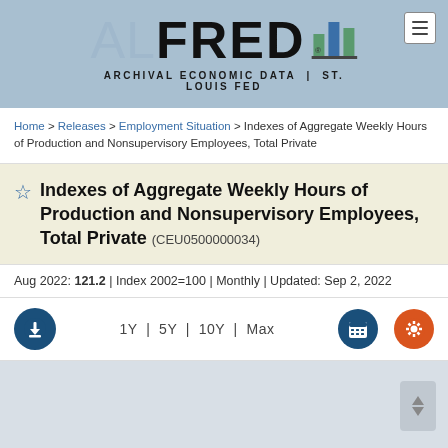[Figure (logo): ALFRED - Archival Economic Data | St. Louis Fed logo with bar chart icon]
Home > Releases > Employment Situation > Indexes of Aggregate Weekly Hours of Production and Nonsupervisory Employees, Total Private
Indexes of Aggregate Weekly Hours of Production and Nonsupervisory Employees, Total Private (CEU0500000034)
Aug 2022: 121.2 | Index 2002=100 | Monthly | Updated: Sep 2, 2022
[Figure (screenshot): Controls row with download button, 1Y | 5Y | 10Y | Max time range options, calendar and settings buttons]
[Figure (other): Chart area placeholder, light blue-gray background with scroll button]